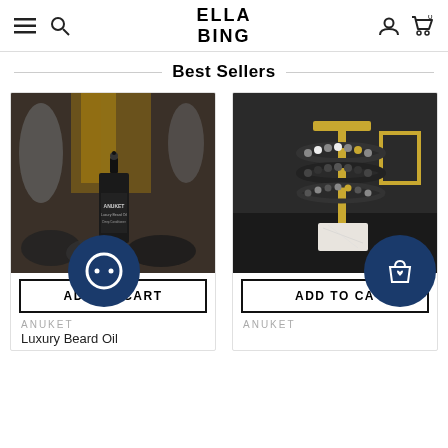ELLA BING — navigation header with menu, search, account, cart icons
Best Sellers
[Figure (photo): Anuket Luxury Beard Oil bottle product photo on dark background with wood and glass]
ADD TO CART
ANUKET
Luxury Beard Oil
[Figure (photo): Anuket beaded bracelets displayed on gold jewelry stand with marble base]
ADD TO CA
ANUKET